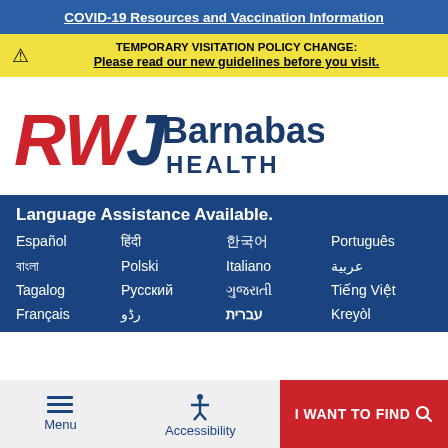COVID-19 Resources and Vaccination Information
TEMPORARY VISITATION POLICY CHANGE: Please read our new guidelines before you visit.
[Figure (logo): RWJBarnabas Health logo — RWJ in red/blue italic bold, Barnabas Health in dark blue]
Language Assistance Available.
Español
हिंदी
한국어
Português
বাংলা
Polski
Italiano
عربية
Tagalog
Русский
ગુજરાતી
Tiếng Việt
Français
رڈو
עברית
Kreyòl
Menu | Accessibility | I WANT TO FIND